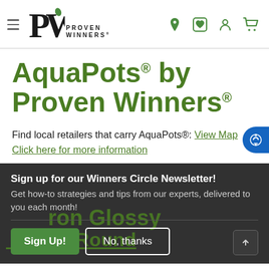Proven Winners navigation header with logo, hamburger menu, and icons
AquaPots® by Proven Winners®
Find local retailers that carry AquaPots®: View Map
Click here for more information
Sign up for our Winners Circle Newsletter! Get how-to strategies and tips from our experts, delivered to you each month!
Sign Up!   No, thanks